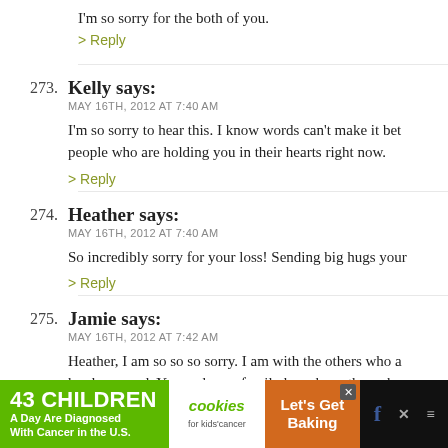I'm so sorry for the both of you.
> Reply
273. Kelly says: MAY 16TH, 2012 AT 7:40 AM — I'm so sorry to hear this. I know words can't make it better, but know there are people who are holding you in their hearts right now.
> Reply
274. Heather says: MAY 16TH, 2012 AT 7:40 AM — So incredibly sorry for your loss! Sending big hugs your way.
> Reply
275. Jamie says: MAY 16TH, 2012 AT 7:42 AM — Heather, I am so so so sorry. I am with the others who a... has happened. You and your family have been through...
[Figure (screenshot): Ad banner: 43 CHILDREN A Day Are Diagnosed With Cancer in the U.S. | cookies for kids cancer | Let's Get Baking]